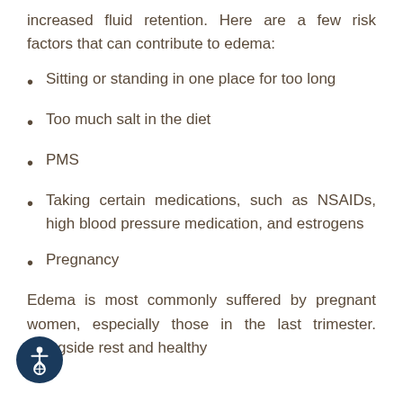increased fluid retention. Here are a few risk factors that can contribute to edema:
Sitting or standing in one place for too long
Too much salt in the diet
PMS
Taking certain medications, such as NSAIDs, high blood pressure medication, and estrogens
Pregnancy
Edema is most commonly suffered by pregnant women, especially those in the last trimester. Alongside rest and healthy